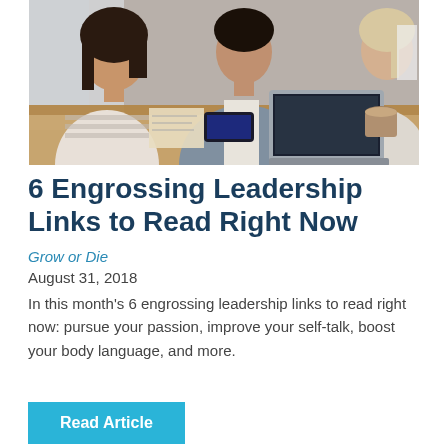[Figure (photo): Office meeting scene with people sitting at a wooden table with laptops, phones, and notebooks. A woman with dark hair in a striped top is visible on the left, a man in a grey blazer is in the center working on a laptop, and another person is visible on the right.]
6 Engrossing Leadership Links to Read Right Now
Grow or Die
August 31, 2018
In this month's 6 engrossing leadership links to read right now: pursue your passion, improve your self-talk, boost your body language, and more.
Read Article